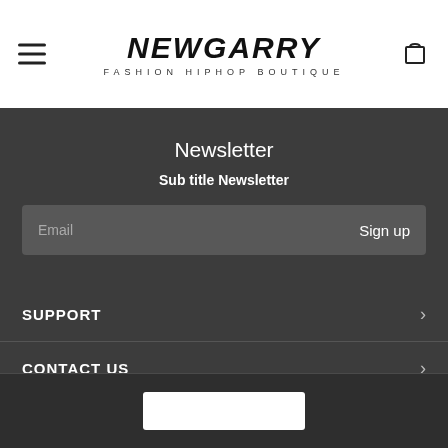NEWGARRY FASHION HIPHOP BOUTIQUE
Newsletter
Sub title Newsletter
Email  Sign up
SUPPORT
CONTACT US